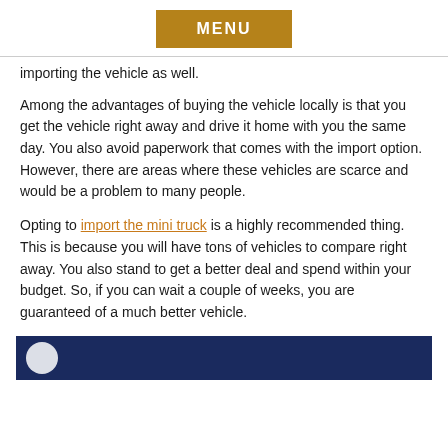MENU
importing the vehicle as well.
Among the advantages of buying the vehicle locally is that you get the vehicle right away and drive it home with you the same day. You also avoid paperwork that comes with the import option. However, there are areas where these vehicles are scarce and would be a problem to many people.
Opting to import the mini truck is a highly recommended thing. This is because you will have tons of vehicles to compare right away. You also stand to get a better deal and spend within your budget. So, if you can wait a couple of weeks, you are guaranteed of a much better vehicle.
[Figure (illustration): Dark navy blue banner at the bottom with a partial white circular moon/logo icon on the left side]